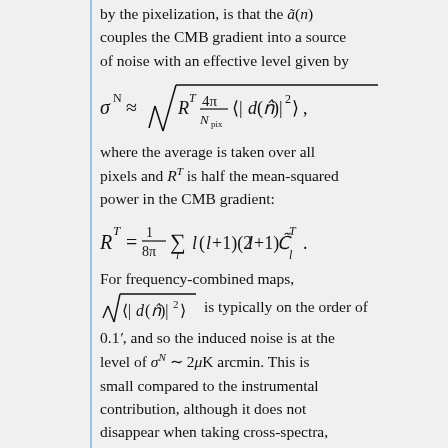by the pixelization, is that the ã(n) couples the CMB gradient into a source of noise with an effective level given by
where the average is taken over all pixels and R^T is half the mean-squared power in the CMB gradient:
For frequency-combined maps, √⟨|d(n̂)|²⟩ is typically on the order of 0.1′, and so the induced noise is at the level of σ^N ~ 2μK arcmin. This is small compared to the instrumental contribution, although it does not disappear when taking cross-spectra, depending on how coherent the hit distributions of the two maps in the cross-spectrum are.